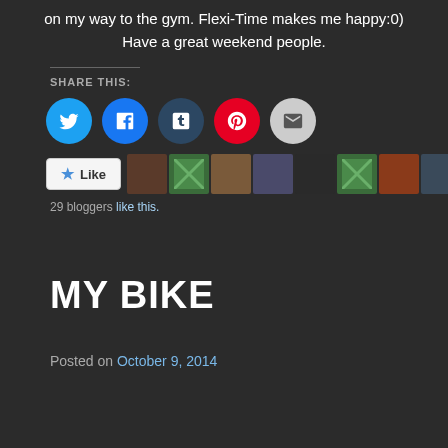on my way to the gym. Flexi-Time makes me happy:0) Have a great weekend people.
SHARE THIS:
[Figure (infographic): Social sharing icons: Twitter (blue), Facebook (blue), Tumblr (dark blue), Pinterest (red), Email (grey)]
[Figure (infographic): Like button followed by 10 blogger avatar thumbnails]
29 bloggers like this.
MY BIKE
Posted on October 9, 2014